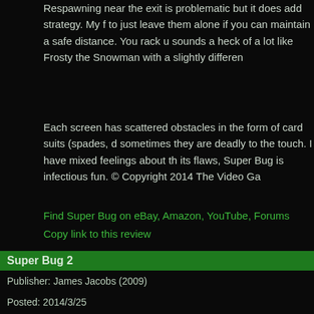Respawning near the exit is problematic but it does add strategy. My f to just leave them alone if you can maintain a safe distance. You rack u sounds a heck of a lot like Frosty the Snowman with a slightly differen
Each screen has scattered obstacles in the form of card suits (spades, d sometimes they are deadly to the touch. I have mixed feelings about th its flaws, Super Bug is infectious fun. © Copyright 2014 The Video Ga
Find Super Bug on eBay, Amazon, YouTube, Forums
Copy link to this review
If you like this gar Millipede (Atar Mega Maze (Philips CD-i),
Super Bug 2
Publisher: James Jacobs (2009)
Posted: 2014/3/25